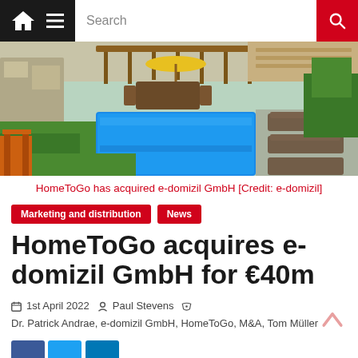Search
[Figure (photo): Outdoor villa with swimming pool, sun loungers, yellow umbrella, wooden pergola, and landscaped garden]
HomeToGo has acquired e-domizil GmbH [Credit: e-domizil]
Marketing and distribution
News
HomeToGo acquires e-domizil GmbH for €40m
1st April 2022  Paul Stevens  Dr. Patrick Andrae, e-domizil GmbH, HomeToGo, M&A, Tom Müller